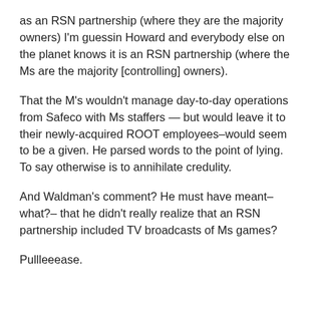as an RSN partnership (where they are the majority owners) I'm guessin Howard and everybody else on the planet knows it is an RSN partnership (where the Ms are the majority [controlling] owners).
That the M's wouldn't manage day-to-day operations from Safeco with Ms staffers — but would leave it to their newly-acquired ROOT employees–would seem to be a given. He parsed words to the point of lying. To say otherwise is to annihilate credulity.
And Waldman's comment? He must have meant–what?– that he didn't really realize that an RSN partnership included TV broadcasts of Ms games?
Pullleeease.